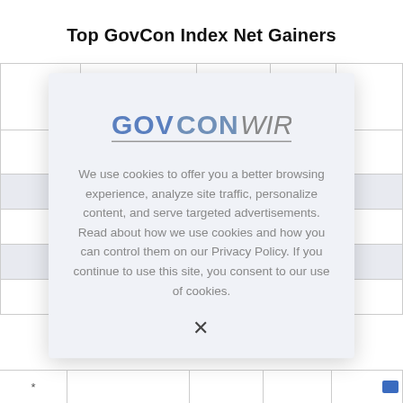Top GovCon Index Net Gainers
|  |  | $ Current | Net | C |
| --- | --- | --- | --- | --- |
|  |  |  |  |  |
| * |  |  |  |  |
[Figure (logo): GovConWire logo with GOVCON in blue/gray and WIRE in gray italic style, underlined]
We use cookies to offer you a better browsing experience, analyze site traffic, personalize content, and serve targeted advertisements. Read about how we use cookies and how you can control them on our Privacy Policy. If you continue to use this site, you consent to our use of cookies.
X